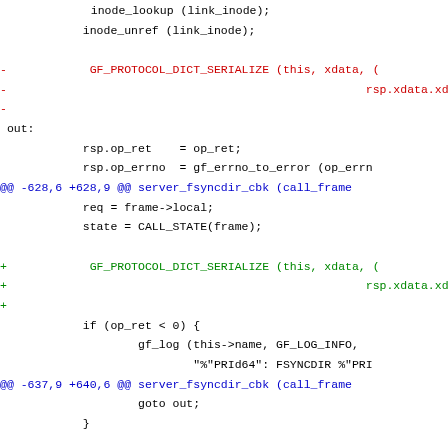Code diff showing inode_lookup, inode_unref, GF_PROTOCOL_DICT_SERIALIZE changes and server_fsyncdir_cbk / server_readdir_cbk hunks